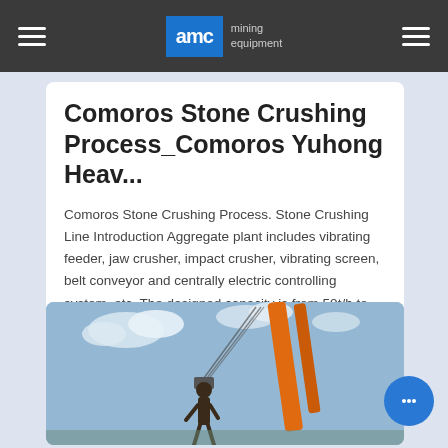AMC mining equipment
Comoros Stone Crushing Process_Comoros Yuhong Heav...
Comoros Stone Crushing Process. Stone Crushing Line Introduction Aggregate plant includes vibrating feeder, jaw crusher, impact crusher, vibrating screen, belt conveyor and centrally electric controlling system, etc. The designed capacity is from 50t/h to 800t/h. To meet... customer"s specific requirement, we can also add
[Figure (photo): Construction or mining crane/drilling rig scene with a worker, orange machinery arm, cables, and blue sky with clouds]